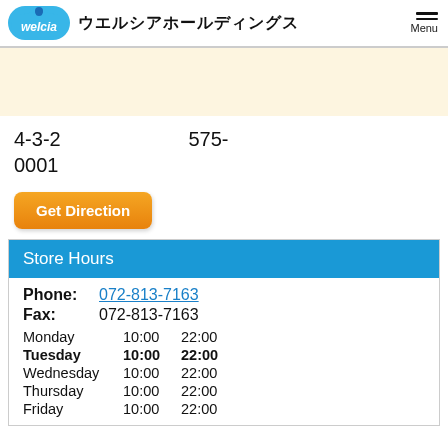welcia ウエルシアホールディングス Menu
[Figure (illustration): Cream/beige banner area placeholder]
4-3-2  575-0001
Get Direction
Store Hours
| Phone: | 072-813-7163 |
| Fax: | 072-813-7163 |
| Monday | 10:00 | 22:00 |
| Tuesday | 10:00 | 22:00 |
| Wednesday | 10:00 | 22:00 |
| Thursday | 10:00 | 22:00 |
| Friday | 10:00 | 22:00 |